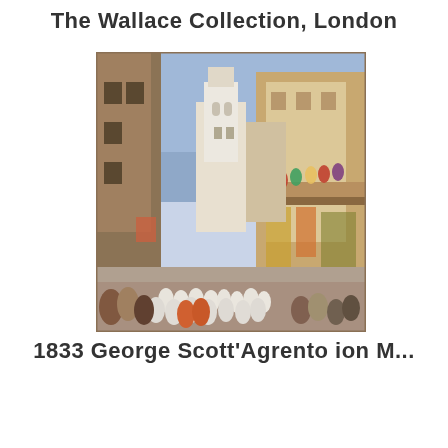The Wallace Collection, London
[Figure (illustration): Oil painting depicting a bustling Mediterranean or North African street scene. A narrow street is flanked by tall buildings with balconies on the right side crowded with spectators. In the background rises a white tower/church bell tower. The lower street is filled with a procession of figures dressed in white robes. The sky is blue. The painting has warm ochre, brown, and sandy tones.]
1833 George Scott'Agrento ion M...